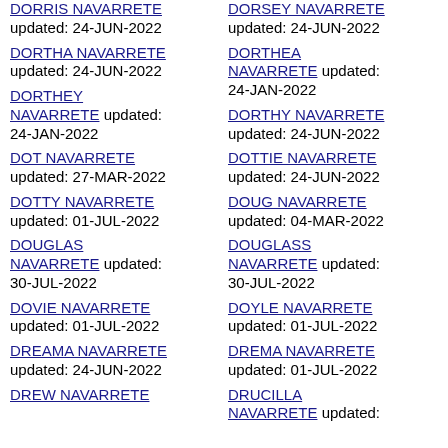DORRIS NAVARRETE updated: 24-JUN-2022
DORSEY NAVARRETE updated: 24-JUN-2022
DORTHA NAVARRETE updated: 24-JUN-2022
DORTHEA NAVARRETE updated: 24-JAN-2022
DORTHEY NAVARRETE updated: 24-JAN-2022
DORTHY NAVARRETE updated: 24-JUN-2022
DOT NAVARRETE updated: 27-MAR-2022
DOTTIE NAVARRETE updated: 24-JUN-2022
DOTTY NAVARRETE updated: 01-JUL-2022
DOUG NAVARRETE updated: 04-MAR-2022
DOUGLAS NAVARRETE updated: 30-JUL-2022
DOUGLASS NAVARRETE updated: 30-JUL-2022
DOVIE NAVARRETE updated: 01-JUL-2022
DOYLE NAVARRETE updated: 01-JUL-2022
DREAMA NAVARRETE updated: 24-JUN-2022
DREMA NAVARRETE updated: 01-JUL-2022
DREW NAVARRETE
DRUCILLA NAVARRETE updated: